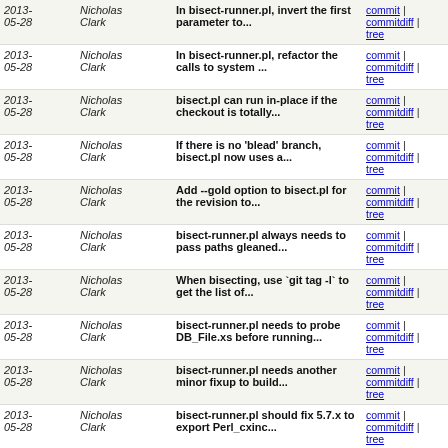| Date | Author | Message | Links |
| --- | --- | --- | --- |
| 2013-05-28 | Nicholas Clark | In bisect-runner.pl, invert the first parameter to... | commit | commitdiff | tree |
| 2013-05-28 | Nicholas Clark | In bisect-runner.pl, refactor the calls to system ... | commit | commitdiff | tree |
| 2013-05-28 | Nicholas Clark | bisect.pl can run in-place if the checkout is totally... | commit | commitdiff | tree |
| 2013-05-28 | Nicholas Clark | If there is no 'blead' branch, bisect.pl now uses a... | commit | commitdiff | tree |
| 2013-05-28 | Nicholas Clark | Add --gold option to bisect.pl for the revision to... | commit | commitdiff | tree |
| 2013-05-28 | Nicholas Clark | bisect-runner.pl always needs to pass paths gleaned... | commit | commitdiff | tree |
| 2013-05-28 | Nicholas Clark | When bisecting, use `git tag -l` to get the list of... | commit | commitdiff | tree |
| 2013-05-28 | Nicholas Clark | bisect-runner.pl needs to probe DB_File.xs before running... | commit | commitdiff | tree |
| 2013-05-28 | Nicholas Clark | bisect-runner.pl needs another minor fixup to build... | commit | commitdiff | tree |
| 2013-05-28 | Nicholas Clark | bisect-runner.pl should fix 5.7.x to export Perl_cxinc... | commit | commitdiff | tree |
| 2013-05-28 | Nicholas Clark | bisect-runner.pl should fix a typo in the Solaris hints... | commit | commitdiff | tree |
| 2013-05-28 | Yves Orton | Tweak to make it clearer what to do if your working... | commit | commitdiff | tree |
| 2013-05-28 | Nicholas Clark | Add a --valgrind option to bisect.pl, to run the test... | commit | commitdiff | tree |